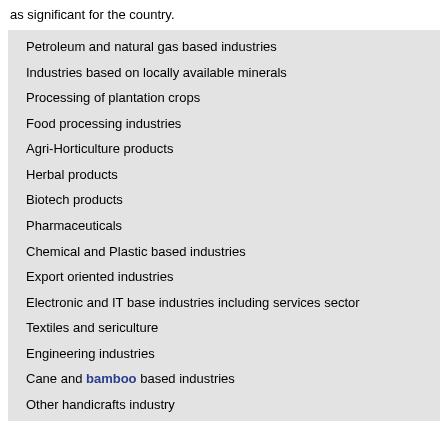as significant for the country.
Petroleum and natural gas based industries
Industries based on locally available minerals
Processing of plantation crops
Food processing industries
Agri-Horticulture products
Herbal products
Biotech products
Pharmaceuticals
Chemical and Plastic based industries
Export oriented industries
Electronic and IT base industries including services sector
Textiles and sericulture
Engineering industries
Cane and bamboo based industries
Other handicrafts industry